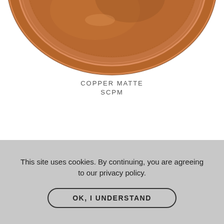[Figure (photo): Top portion of a round ceramic plate with copper matte glaze, showing brown/copper tones with concentric ridges, cropped at the bottom edge.]
COPPER MATTE
SCPM
[Figure (photo): Upper portion of a round ceramic plate with cream/ivory glaze, showing pale yellow-green tones with a subtle rim ridge, cropped at the bottom.]
This site uses cookies. By continuing, you are agreeing to our privacy policy.
OK, I UNDERSTAND